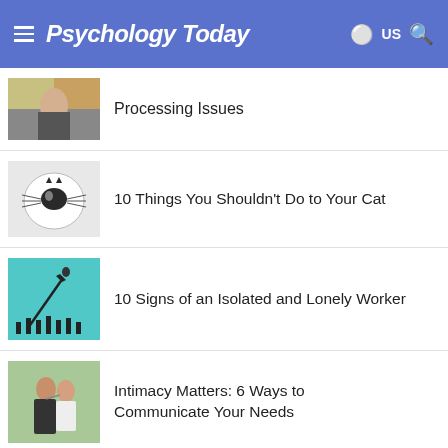Psychology Today
Processing Issues
10 Things You Shouldn't Do to Your Cat
10 Signs of an Isolated and Lonely Worker
Intimacy Matters: 6 Ways to Communicate Your Needs
3 Signs That Your Personality Prefers Singlehood